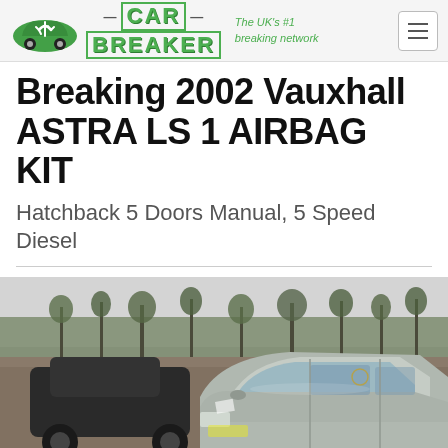[Figure (logo): Car Breaker logo with green recycling car icon, 'CAR BREAKER' text in green, tagline 'The UK's #1 breaking network']
Breaking 2002 Vauxhall ASTRA LS 1 AIRBAG KIT
Hatchback 5 Doors Manual, 5 Speed Diesel
[Figure (photo): Photo of a silver Vauxhall Astra hatchback in a car breaker's yard, with other cars and bare trees in the background]